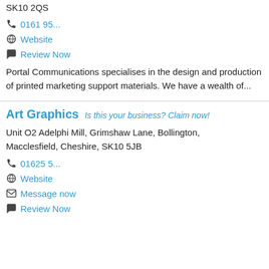SK10 2QS
0161 95...
Website
Review Now
Portal Communications specialises in the design and production of printed marketing support materials. We have a wealth of...
Art Graphics   Is this your business? Claim now!
Unit O2 Adelphi Mill, Grimshaw Lane, Bollington, Macclesfield, Cheshire, SK10 5JB
01625 5...
Website
Message now
Review Now